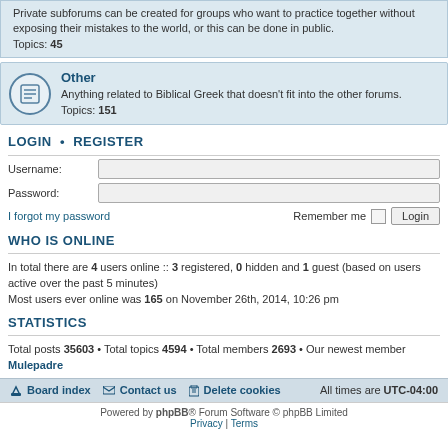Private subforums can be created for groups who want to practice together without exposing their mistakes to the world, or this can be done in public. Topics: 45
Other — Anything related to Biblical Greek that doesn't fit into the other forums. Topics: 151
LOGIN • REGISTER
Username:
Password:
I forgot my password    Remember me  Login
WHO IS ONLINE
In total there are 4 users online :: 3 registered, 0 hidden and 1 guest (based on users active over the past 5 minutes)
Most users ever online was 165 on November 26th, 2014, 10:26 pm
STATISTICS
Total posts 35603 • Total topics 4594 • Total members 2693 • Our newest member Mulepadre
Board index  Contact us  Delete cookies  All times are UTC-04:00
Powered by phpBB® Forum Software © phpBB Limited
Privacy | Terms